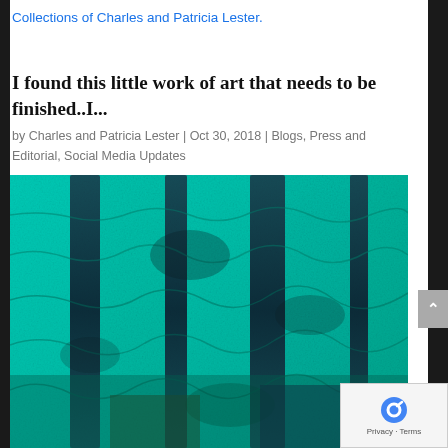Collections of Charles and Patricia Lester.
I found this little work of art that needs to be finished..I...
by Charles and Patricia Lester | Oct 30, 2018 | Blogs, Press and Editorial, Social Media Updates
[Figure (photo): Close-up photograph of a piece of teal/turquoise and dark blue fabric artwork with textured, rippled surface showing various shades of green, teal and indigo in a pleated or gathered textile composition.]